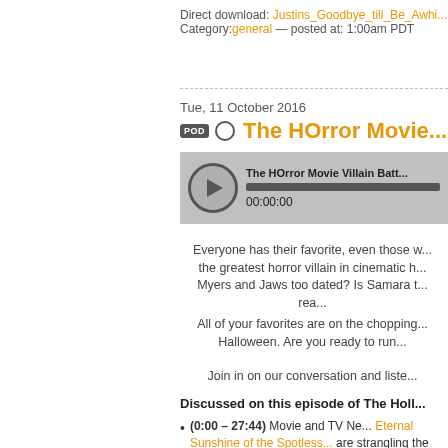Direct download: Justins_Goodbye_till_Be_Awhi... Category:general — posted at: 1:00am PDT
Tue, 11 October 2016
The HOrror Movie...
[Figure (other): Podcast audio player showing 'The HOrror Movie Villain Batt...' with play button, progress bar at 00:00:00]
Everyone has their favorite, even those who think the greatest horror villain in cinematic h... Myers and Jaws too dated? Is Samara t... rea...
All of your favorites are on the chopping... Halloween. Are you ready to run...
Join in on our conversation and liste...
Discussed on this episode of The Holl...
(0:00 – 27:44) Movie and TV Ne... Eternal Sunshine of the Spotless... are strangling the movie biz, Dow...
(27:45 – 1:32:22) From The Out... Listener topic comments
(1:32:23 – 1:58:07) What's This... Yoga Hosers, Birth of a Nation | Hart: What Now? | Movie Innue...
(1:58:08 – 2:14:04) Recommend...
Email us your thoughts on the ep... topic to feedback@thehollywood...
Be sure to join our Facebook Gr...
Join our Fantasy Movie Leagu...